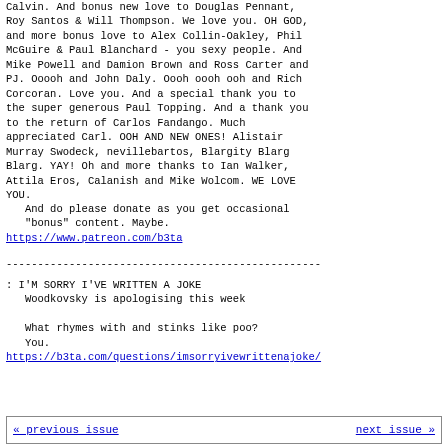Calvin. And bonus new love to Douglas Pennant, Roy Santos & Will Thompson. We love you. OH GOD, and more bonus love to Alex Collin-Oakley, Phil McGuire & Paul Blanchard - you sexy people. And Mike Powell and Damion Brown and Ross Carter and PJ. Ooooh and John Daly. Oooh oooh ooh and Rich Corcoran. Love you. And a special thank you to the super generous Paul Topping. And a thank you to the return of Carlos Fandango. Much appreciated Carl. OOH AND NEW ONES! Alistair Murray Swodeck, nevillebartos, Blargity Blarg Blarg. YAY! Oh and more thanks to Ian Walker, Attila Eros, Calanish and Mike Wolcom. WE LOVE YOU.
And do please donate as you get occasional "bonus" content. Maybe.
https://www.patreon.com/b3ta
--------------------------------------------------
: I'M SORRY I'VE WRITTEN A JOKE
  Woodkovsky is apologising this week

  What rhymes with and stinks like poo?
  You.
https://b3ta.com/questions/imsorryivewrittenajoke/
« previous issue   next issue »